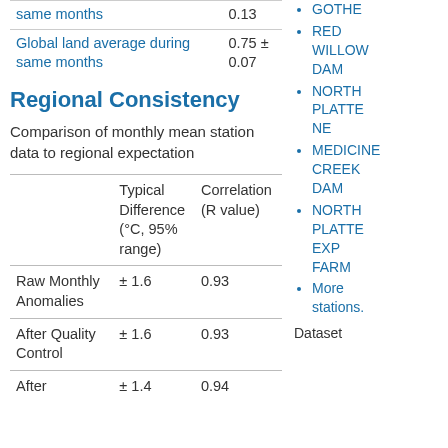|  | Value |
| --- | --- |
| same months | 0.13 |
| Global land average during same months | 0.75 ± 0.07 |
Regional Consistency
Comparison of monthly mean station data to regional expectation
|  | Typical Difference (°C, 95% range) | Correlation (R value) |
| --- | --- | --- |
| Raw Monthly Anomalies | ± 1.6 | 0.93 |
| After Quality Control | ± 1.6 | 0.93 |
| After | ± 1.4 | 0.94 |
GOTHE
RED WILLOW DAM
NORTH PLATTE NE
MEDICINE CREEK DAM
NORTH PLATTE EXP FARM
More stations.
Dataset